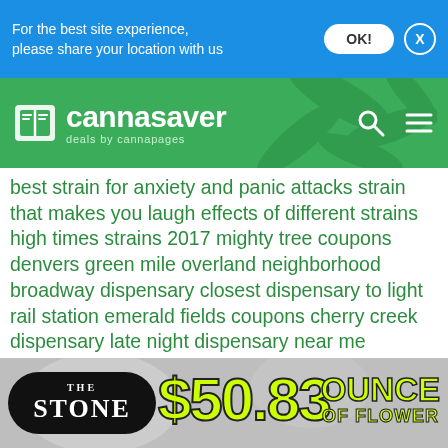For the best site experience, please share your location with us
[Figure (logo): Cannasaver logo with book icon, tagline 'deals by cannapages', search and menu icons on green background]
best strain for anxiety and panic attacks strain that makes you laugh effects of different strains high times strains 2017 mighty tree coupons denvers green mile overland neighborhood broadway dispensary closest dispensary to light rail station emerald fields coupons cherry creek dispensary late night dispensary near me dispensary open till midnight dispensary open 24 hours colorado dispensaries open late night denver dispensary open late concentrate deals in denver cheapest concentrates in denver denver dispensary prices concentrate deals near me shatter deals near me thcv high thcv strains weight loss strain lose weight with thcv thcv edibles wax ounce deals shatter ounce deals concentrate ounce deals
[Figure (infographic): The Stone dispensary ad banner showing $50.83 ounce of flower deal on grey textured background]